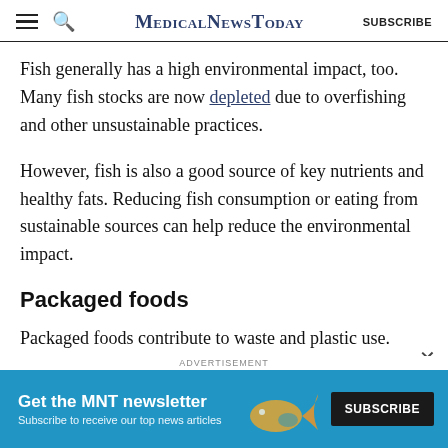MedicalNewsToday | SUBSCRIBE
Fish generally has a high environmental impact, too. Many fish stocks are now depleted due to overfishing and other unsustainable practices.
However, fish is also a good source of key nutrients and healthy fats. Reducing fish consumption or eating from sustainable sources can help reduce the environmental impact.
Packaged foods
Packaged foods contribute to waste and plastic use.
[Figure (other): MNT newsletter advertisement banner with teal background, subscribe button, and decorative fish graphic]
ADVERTISEMENT